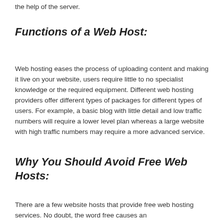the help of the server.
Functions of a Web Host:
Web hosting eases the process of uploading content and making it live on your website, users require little to no specialist knowledge or the required equipment. Different web hosting providers offer different types of packages for different types of users. For example, a basic blog with little detail and low traffic numbers will require a lower level plan whereas a large website with high traffic numbers may require a more advanced service.
Why You Should Avoid Free Web Hosts:
There are a few website hosts that provide free web hosting services. No doubt, the word free causes an